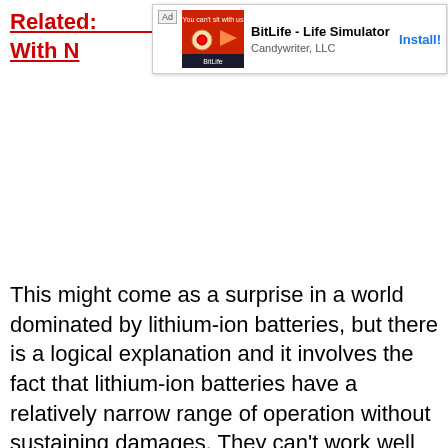Related: ... ny Deal With N...
[Figure (other): Advertisement banner for BitLife - Life Simulator by Candywriter, LLC with Install button]
This might come as a surprise in a world dominated by lithium-ion batteries, but there is a logical explanation and it involves the fact that lithium-ion batteries have a relatively narrow range of operation without sustaining damages. They can't work well in too hot or too cold weather, in other words. The sodium-sulfur batteries, however, can withstand